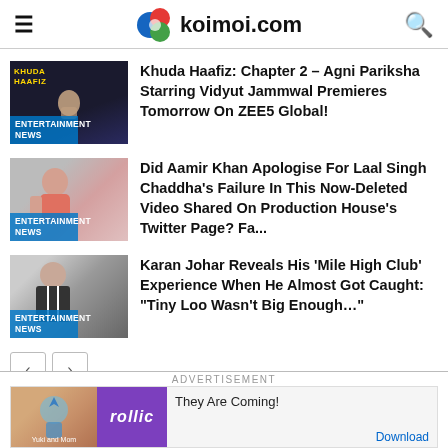koimoi.com
[Figure (photo): Khuda Haafiz movie thumbnail with ENTERTAINMENT NEWS badge]
Khuda Haafiz: Chapter 2 – Agni Pariksha Starring Vidyut Jammwal Premieres Tomorrow On ZEE5 Global!
[Figure (photo): Aamir Khan photo thumbnail with ENTERTAINMENT NEWS badge]
Did Aamir Khan Apologise For Laal Singh Chaddha's Failure In This Now-Deleted Video Shared On Production House's Twitter Page? Fa...
[Figure (photo): Karan Johar photo thumbnail with ENTERTAINMENT NEWS badge]
Karan Johar Reveals His 'Mile High Club' Experience When He Almost Got Caught: "Tiny Loo Wasn't Big Enough…"
[Figure (screenshot): Advertisement banner: rollic app - They Are Coming! Download]